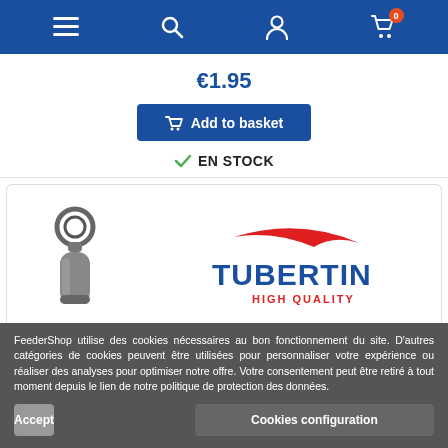Navigation bar with menu, search, account, and cart (0 items) icons
€1.95
Add to basket
EN STOCK
[Figure (photo): Metal barrel swivel fishing tackle product photo on left side; Tubertini High Quality brand logo on right side]
FeederShop utilise des cookies nécessaires au bon fonctionnement du site. D'autres catégories de cookies peuvent être utilisées pour personnaliser votre expérience ou réaliser des analyses pour optimiser notre offre. Votre consentement peut être retiré à tout moment depuis le lien de notre politique de protection des données.
Accept
Cookies configuration